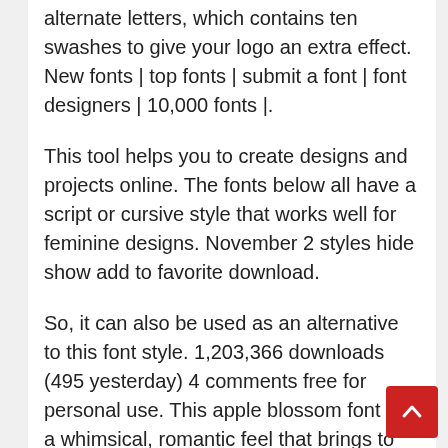alternate letters, which contains ten swashes to give your logo an extra effect. New fonts | top fonts | submit a font | font designers | 10,000 fonts |.
This tool helps you to create designs and projects online. The fonts below all have a script or cursive style that works well for feminine designs. November 2 styles hide show add to favorite download.
So, it can also be used as an alternative to this font style. 1,203,366 downloads (495 yesterday) 4 comments free for personal use. This apple blossom font has a whimsical, romantic feel that brings to mind cool autumn breezes, apple butter and pumpkin desserts.